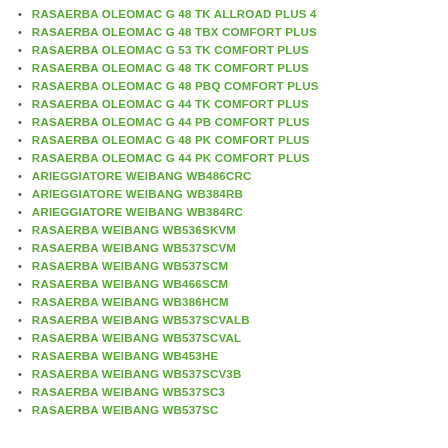RASAERBA OLEOMAC G 48 TK ALLROAD PLUS 4
RASAERBA OLEOMAC G 48 TBX COMFORT PLUS
RASAERBA OLEOMAC G 53 TK COMFORT PLUS
RASAERBA OLEOMAC G 48 TK COMFORT PLUS
RASAERBA OLEOMAC G 48 PBQ COMFORT PLUS
RASAERBA OLEOMAC G 44 TK COMFORT PLUS
RASAERBA OLEOMAC G 44 PB COMFORT PLUS
RASAERBA OLEOMAC G 48 PK COMFORT PLUS
RASAERBA OLEOMAC G 44 PK COMFORT PLUS
ARIEGGIATORE WEIBANG WB486CRC
ARIEGGIATORE WEIBANG WB384RB
ARIEGGIATORE WEIBANG WB384RC
RASAERBA WEIBANG WB536SKVM
RASAERBA WEIBANG WB537SCVM
RASAERBA WEIBANG WB537SCM
RASAERBA WEIBANG WB466SCM
RASAERBA WEIBANG WB386HCM
RASAERBA WEIBANG WB537SCVALB
RASAERBA WEIBANG WB537SCVAL
RASAERBA WEIBANG WB453HE
RASAERBA WEIBANG WB537SCV3B
RASAERBA WEIBANG WB537SC3
RASAERBA WEIBANG WB537SC